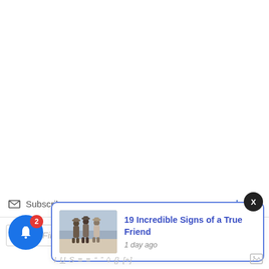Subscribe  Login
Be the Fir...
[Figure (screenshot): Blue notification bell icon with red badge showing number 2]
[Figure (screenshot): Notification popup card with thumbnail photo of three young women at a beach and text: 19 Incredible Signs of a True Friend, 1 day ago]
X (close button)
I U S ≡ ≡ " " ◊ {} [+]